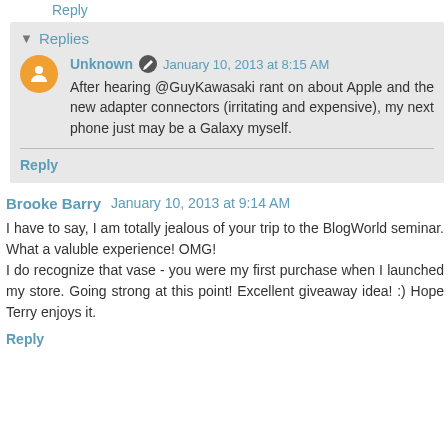Reply
Replies
Unknown January 10, 2013 at 8:15 AM
After hearing @GuyKawasaki rant on about Apple and the new adapter connectors (irritating and expensive), my next phone just may be a Galaxy myself.
Reply
Brooke Barry January 10, 2013 at 9:14 AM
I have to say, I am totally jealous of your trip to the BlogWorld seminar. What a valuble experience! OMG! I do recognize that vase - you were my first purchase when I launched my store. Going strong at this point! Excellent giveaway idea! :) Hope Terry enjoys it.
Reply